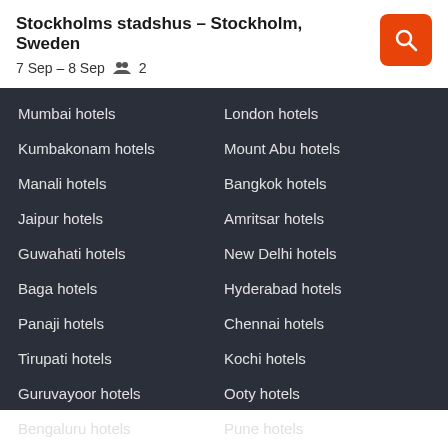Stockholms stadshus – Stockholm, Sweden
7 Sep – 8 Sep   2
Mumbai hotels
London hotels
Kumbakonam hotels
Mount Abu hotels
Manali hotels
Bangkok hotels
Jaipur hotels
Amritsar hotels
Guwahati hotels
New Delhi hotels
Baga hotels
Hyderabad hotels
Panaji hotels
Chennai hotels
Tirupati hotels
Kochi hotels
Guruvayoor hotels
Ooty hotels
Bengaluru hotels
Pune hotels
Site
INDIA